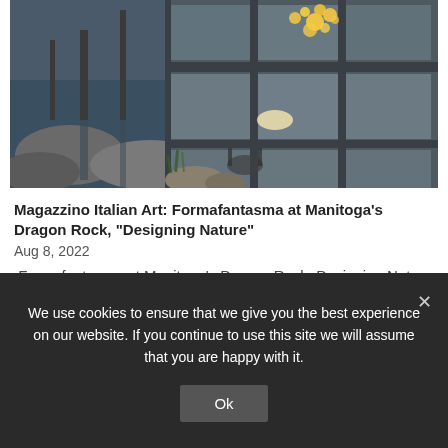[Figure (photo): Exterior view of a modernist glass-walled building at dusk, surrounded by rocky landscape, water reflection visible, warm pendant lights inside illuminating the interior with trees and stone surroundings]
Magazzino Italian Art: Formafantasma at Manitoga's Dragon Rock, "Designing Nature"
Aug 8, 2022
Formafantasma at Manitoga's Dragon Rock: Designing Nature Formafantasma presents the...
We use cookies to ensure that we give you the best experience on our website. If you continue to use this site we will assume that you are happy with it.
Ok